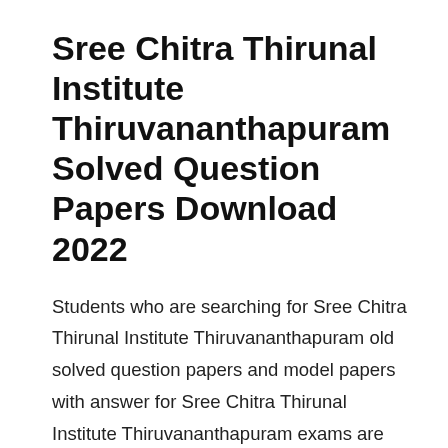Sree Chitra Thirunal Institute Thiruvananthapuram Solved Question Papers Download 2022
Students who are searching for Sree Chitra Thirunal Institute Thiruvananthapuram old solved question papers and model papers with answer for Sree Chitra Thirunal Institute Thiruvananthapuram exams are available on our website Exam Craze. Here Sree Chitra Thirunal Institute Thiruvananthapuram Aspirants can also check for the Sree Chitra Thirunal Institute Thiruvananthapuram solved papers and Sree Chitra Thirunal Institute Thiruvananthapuram